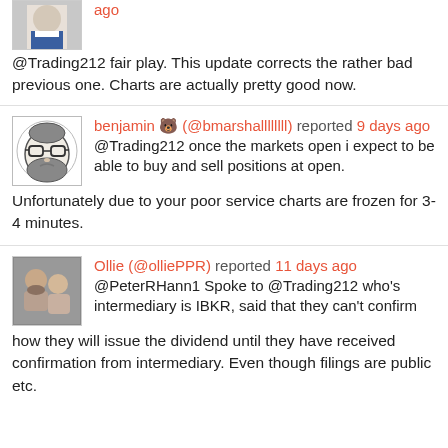ago
@Trading212 fair play. This update corrects the rather bad previous one. Charts are actually pretty good now.
benjamin 🐻 (@bmarshallllllll) reported 9 days ago
@Trading212 once the markets open i expect to be able to buy and sell positions at open. Unfortunately due to your poor service charts are frozen for 3-4 minutes.
Ollie (@olliePPR) reported 11 days ago
@PeterRHann1 Spoke to @Trading212 who's intermediary is IBKR, said that they can't confirm how they will issue the dividend until they have received confirmation from intermediary. Even though filings are public etc.